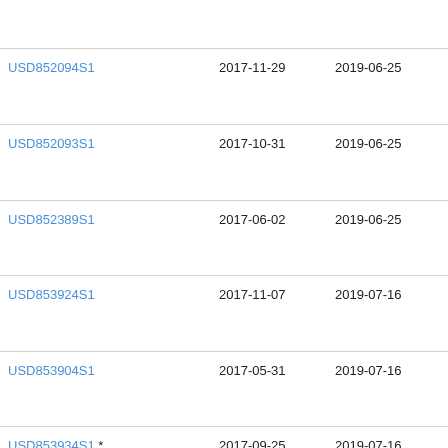| ID | Date1 | Date2 | Description |
| --- | --- | --- | --- |
| (partial) |  |  | Tec
Opi |
| USD852094S1 | 2017-11-29 | 2019-06-25 | GM
Tec
Opi |
| USD852093S1 | 2017-10-31 | 2019-06-25 | GM
Tec
Opi |
| USD852389S1 | 2017-06-02 | 2019-06-25 | GM
Tec
Opi |
| USD853924S1 | 2017-11-07 | 2019-07-16 | GM
Tec
Opi |
| USD853904S1 | 2017-05-31 | 2019-07-16 | GM
Tec
Opi |
| USD853934S1 * | 2017-09-25 | 2019-07-16 | Bay |